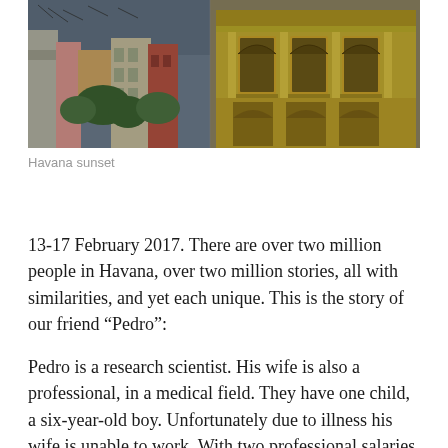[Figure (photo): Photograph of Havana street scene showing colorful low-rise buildings on the left and a ornate yellow colonial building with arched windows and decorative columns on the right, taken at sunset.]
Havana sunset
13-17 February 2017. There are over two million people in Havana, over two million stories, all with similarities, and yet each unique. This is the story of our friend “Pedro”:
Pedro is a research scientist. His wife is also a professional, in a medical field. They have one child, a six-year-old boy. Unfortunately due to illness his wife is unable to work. With two professional salaries Pedro and his wife